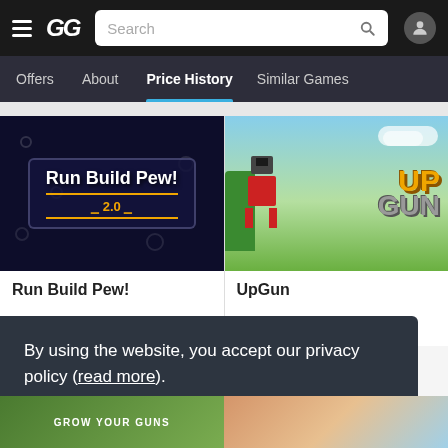GG — Search bar with hamburger menu and user icon
Offers | About | Price History | Similar Games
[Figure (screenshot): Game thumbnail for Run Build Pew! — dark space-themed top-down strategy game with logo text 'Run Build Pew! 2.0']
Run Build Pew!
[Figure (screenshot): Game thumbnail for UpGun — colorful action game with robot character and 'UPGUN' logo on green background]
UpGun
By using the website, you accept our privacy policy (read more).
Got it!
[Figure (screenshot): Bottom strip showing two game thumbnails: 'GROW YOUR GUNS' on the left and another game on the right]